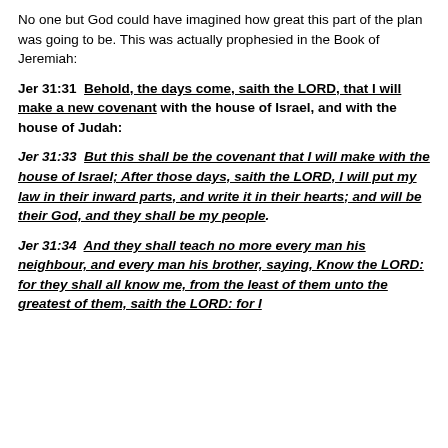No one but God could have imagined how great this part of the plan was going to be. This was actually prophesied in the Book of Jeremiah:
Jer 31:31  Behold, the days come, saith the LORD, that I will make a new covenant with the house of Israel, and with the house of Judah:
Jer 31:33  But this shall be the covenant that I will make with the house of Israel; After those days, saith the LORD, I will put my law in their inward parts, and write it in their hearts; and will be their God, and they shall be my people.
Jer 31:34  And they shall teach no more every man his neighbour, and every man his brother, saying, Know the LORD: for they shall all know me, from the least of them unto the greatest of them, saith the LORD: for I